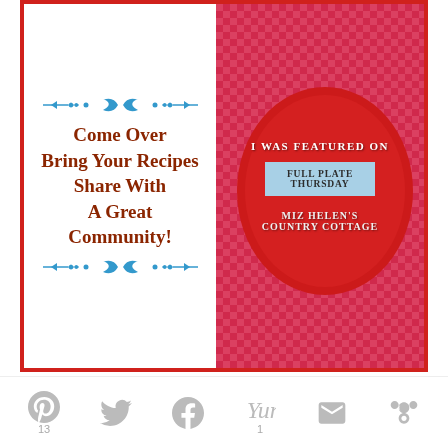[Figure (infographic): Two-panel banner: left side has decorative blue dividers and red bold text 'Come Over Bring Your Recipes Share With A Great Community!' on white background with red border. Right side is red background with white text 'I WAS FEATURED ON', a light blue ribbon reading 'FULL PLATE THURSDAY', and 'MIZ HELEN'S COUNTRY COTTAGE' below.]
WHATS FOR DINNER NEXT WEEK * WEEK OF 8-22-22
[Figure (infographic): Decorative blue ornamental divider with arrows on both ends.]
[Figure (infographic): Social sharing bar with Pinterest (13), Twitter, Facebook, Yummly (1), Email, and More icons at the bottom of the page.]